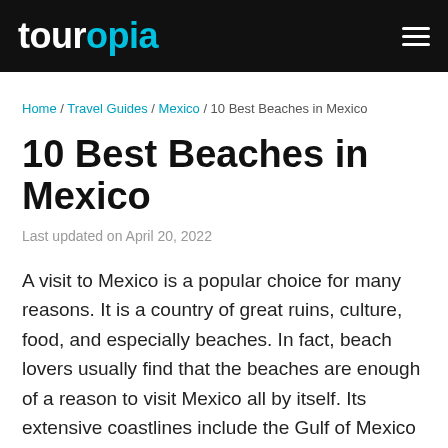touropia
Home / Travel Guides / Mexico / 10 Best Beaches in Mexico
10 Best Beaches in Mexico
Last updated on April 20, 2022
A visit to Mexico is a popular choice for many reasons. It is a country of great ruins, culture, food, and especially beaches. In fact, beach lovers usually find that the beaches are enough of a reason to visit Mexico all by itself. Its extensive coastlines include the Gulf of Mexico and the Caribbean Sea to the east